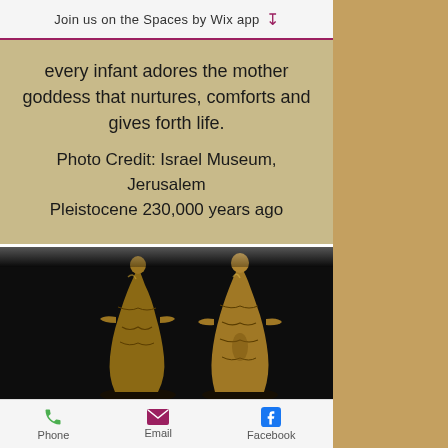Join us on the Spaces by Wix app ↓
every infant adores the mother goddess that nurtures, comforts and gives forth life.
Photo Credit: Israel Museum, Jerusalem
Pleistocene 230,000 years ago
[Figure (photo): Two ancient stone figurines of the Venus of Berekhat Ram viewed from different angles, displayed against a black background. Pleistocene era artifacts from Israel Museum, Jerusalem.]
Phone   Email   Facebook